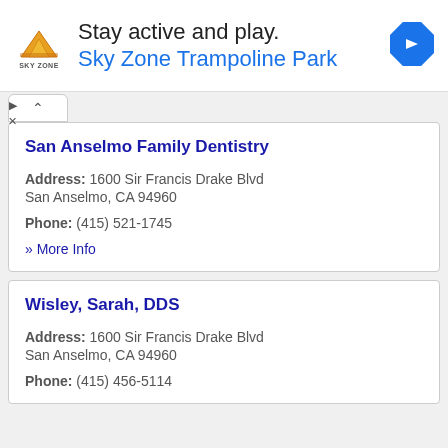[Figure (infographic): Sky Zone Trampoline Park advertisement banner with logo, headline 'Stay active and play.' and subtext 'Sky Zone Trampoline Park', plus a blue diamond navigation arrow icon on the right.]
San Anselmo Family Dentistry
Address: 1600 Sir Francis Drake Blvd
San Anselmo, CA 94960
Phone: (415) 521-1745
» More Info
Wisley, Sarah, DDS
Address: 1600 Sir Francis Drake Blvd
San Anselmo, CA 94960
Phone: (415) 456-5114